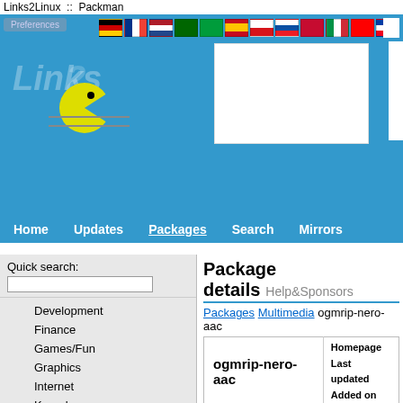Links2Linux :: Packman
Package details
Packages Multimedia ogmrip-nero-aac
|  | Homepage / Last updated / Added on |
| --- | --- |
| ogmrip-nero-aac | Homepage
Last updated
Added on |
OGMRip plugin which adds support for Nero-AAC
| Releases |  |  |
| --- | --- | --- |
| 1.5.1-pm154.4.1 | openSUSE_Leap 15.4 | x8... |
| 1.5.1-pm153.4.5 | openSUSE_Leap 15.3 | x8... |
| 1.5.1-pm152.4.5 | openSUSE_Leap 15.2 | x8... |
| 1.5.1-pm151.4.2 | openSUSE_Leap 15.1 | x8... |
| 1.5.1-lp150.3.9 | openSUSE_Leap 15.0 | x8... |
Development
Finance
Games/Fun
Graphics
Internet
Kernel
Libraries
Multimedia
Network
Other
Security
System